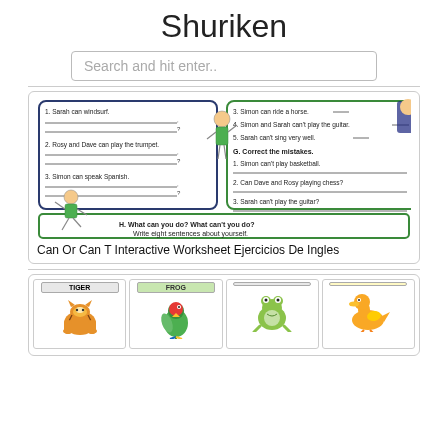Shuriken
Search and hit enter..
[Figure (screenshot): Worksheet image showing English exercises about 'can/can't' with fill-in-the-blank sentences, a 'Correct the mistakes' section, illustrated characters, and an activity asking 'What can you do? What can't you do? Write eight sentences about yourself.']
Can Or Can T Interactive Worksheet Ejercicios De Ingles
[Figure (screenshot): Bottom card showing animal images including a tiger, parrot, frog, and duck with labels, partial view.]